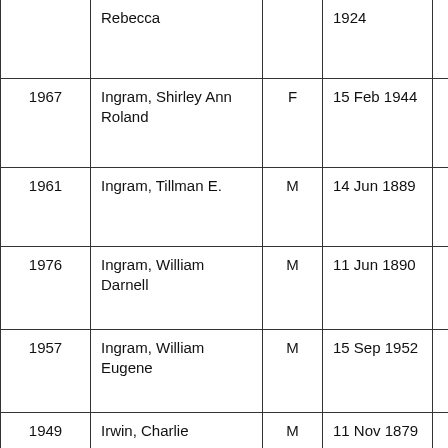| Year | Name | Sex | Birth Date |  |
| --- | --- | --- | --- | --- |
|  | Rebecca |  | 1924 |  |
| 1967 | Ingram, Shirley Ann Roland | F | 15 Feb 1944 |  |
| 1961 | Ingram, Tillman E. | M | 14 Jun 1889 |  |
| 1976 | Ingram, William Darnell | M | 11 Jun 1890 |  |
| 1957 | Ingram, William Eugene | M | 15 Sep 1952 |  |
| 1949 | Irwin, Charlie | M | 11 Nov 1879 |  |
| 1980 | Irwin, Doris Vincent | F | 29 Jul 1918 |  |